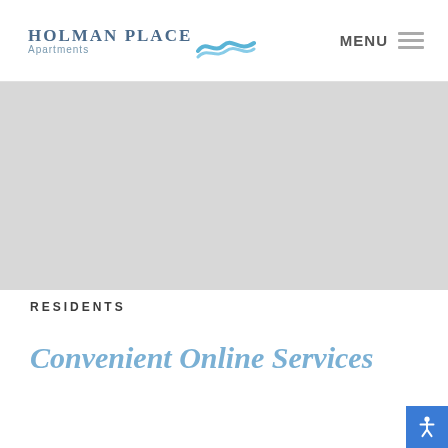[Figure (logo): Holman Place Apartments logo with blue wave graphic]
MENU ≡
[Figure (photo): Large gray hero image placeholder]
RESIDENTS
Convenient Online Services